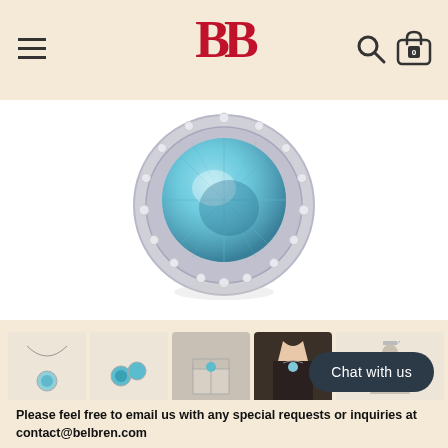BB logo with menu icon, search and cart
[Figure (photo): Close-up of a silver pendant with a large aquamarine/blue round gemstone surrounded by a halo of small diamonds, shown on white background]
[Figure (photo): Five product thumbnail images: necklace with pendant, earrings with blue stone, necklace in gift box, model wearing necklace, diagram of chain lengths]
[Figure (photo): Birthstone color chart showing 12 gemstone color options labeled by month]
Chat with us
Please feel free to email us with any special requests or inquiries at contact@belbren.com